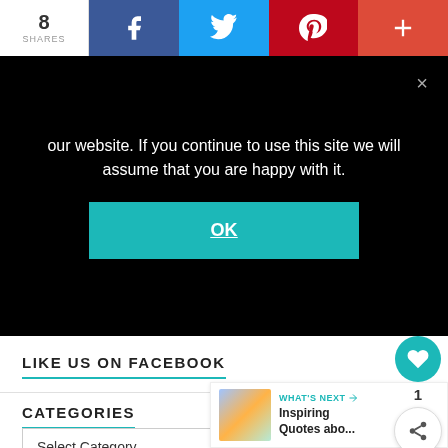[Figure (screenshot): Social share bar with count 8, Facebook, Twitter, Pinterest, and plus buttons]
our website. If you continue to use this site we will assume that you are happy with it.
OK
LIKE US ON FACEBOOK
CATEGORIES
Select Category
1
WHAT'S NEXT → Inspiring Quotes abo...